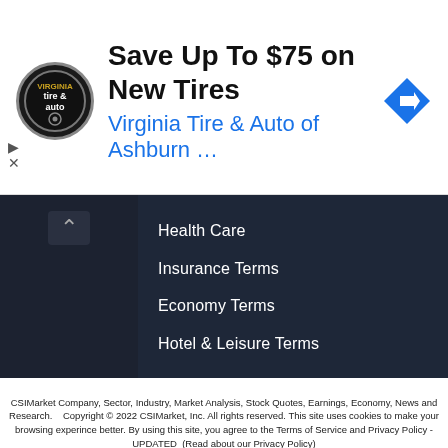[Figure (illustration): Advertisement banner: Virginia Tire & Auto logo (circular black logo), headline 'Save Up To $75 on New Tires', subheadline 'Virginia Tire & Auto of Ashburn ...', blue diamond direction arrow icon, and ad controls (play and close buttons).]
Health Care
Insurance Terms
Economy Terms
Hotel & Leisure Terms
CSIMarket Company, Sector, Industry, Market Analysis, Stock Quotes, Earnings, Economy, News and Research.    Copyright © 2022 CSIMarket, Inc. All rights reserved. This site uses cookies to make your browsing experince better. By using this site, you agree to the Terms of Service and Privacy Policy - UPDATED  (Read about our Privacy Policy)
Intraday data delayed per exchange requirements. All quotes are in local exchange time. Intraday data delayed 15 minutes for Nasdaq, and other exchanges. Fundamental and financial data for Stocks, Sector, Industry, and Economic Indicators provided by CSIMarket.com
CSIMarket.com 1500 N. University Drive, Coral Springs, FL 33071